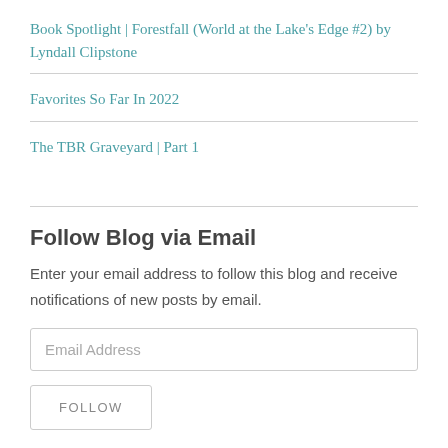Book Spotlight | Forestfall (World at the Lake's Edge #2) by Lyndall Clipstone
Favorites So Far In 2022
The TBR Graveyard | Part 1
Follow Blog via Email
Enter your email address to follow this blog and receive notifications of new posts by email.